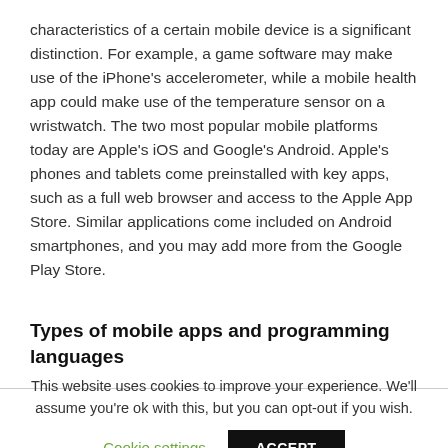characteristics of a certain mobile device is a significant distinction. For example, a game software may make use of the iPhone's accelerometer, while a mobile health app could make use of the temperature sensor on a wristwatch. The two most popular mobile platforms today are Apple's iOS and Google's Android. Apple's phones and tablets come preinstalled with key apps, such as a full web browser and access to the Apple App Store. Similar applications come included on Android smartphones, and you may add more from the Google Play Store.
Types of mobile apps and programming languages
This website uses cookies to improve your experience. We'll assume you're ok with this, but you can opt-out if you wish.
Cookie settings
ACCEPT